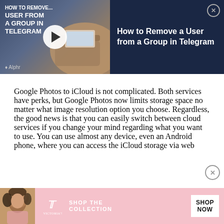[Figure (screenshot): Video thumbnail banner showing 'How to Remove a User from a Group in Telegram' with a play button overlay, dark navy background, thumbnail image of hands holding phone, Alphr logo, and close button.]
Google Photos to iCloud is not complicated. Both services have perks, but Google Photos now limits storage space no matter what image resolution option you choose. Regardless, the good news is that you can easily switch between cloud services if you change your mind regarding what you want to use. You can use almost any device, even an Android phone, where you can access the iCloud storage via web
[Figure (photo): Victoria's Secret advertisement banner with pink background, model with curly hair, Victoria's Secret logo, 'SHOP THE COLLECTION' text, and 'SHOP NOW' button.]